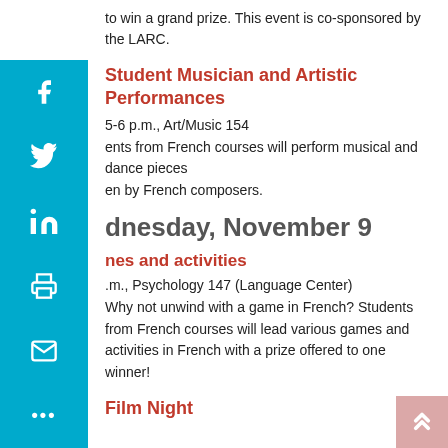to win a grand prize. This event is co-sponsored by the LARC.
Student Musician and Artistic Performances
5-6 p.m., Art/Music 154
ents from French courses will perform musical and dance pieces en by French composers.
dnesday, November 9
nes and activities
.m., Psychology 147 (Language Center)
Why not unwind with a game in French? Students from French courses will lead various games and activities in French with a prize offered to one winner!
Film Night